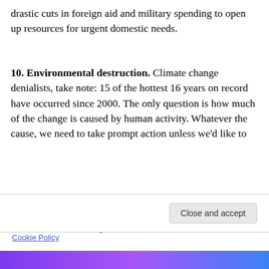drastic cuts in foreign aid and military spending to open up resources for urgent domestic needs.
10. Environmental destruction. Climate change denialists, take note: 15 of the hottest 16 years on record have occurred since 2000. The only question is how much of the change is caused by human activity. Whatever the cause, we need to take prompt action unless we'd like to
Privacy & Cookies: This site uses cookies. By continuing to use this website, you agree to their use.
To find out more, including how to control cookies, see here: Cookie Policy